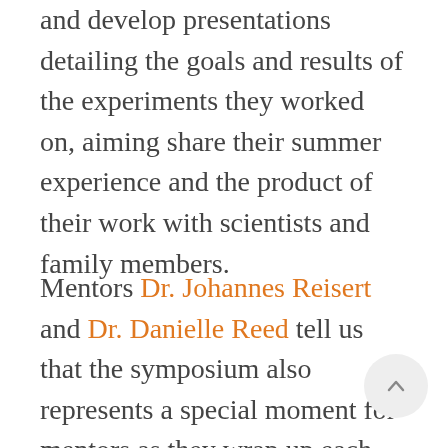and develop presentations detailing the goals and results of the experiments they worked on, aiming share their summer experience and the product of their work with scientists and family members.
Mentors Dr. Johannes Reisert and Dr. Danielle Reed tell us that the symposium also represents a special moment for mentors as they wrap up each summer. In Dr. Reisert's words: “It is always so refreshing to see the enthusiasm and pride of their work when they